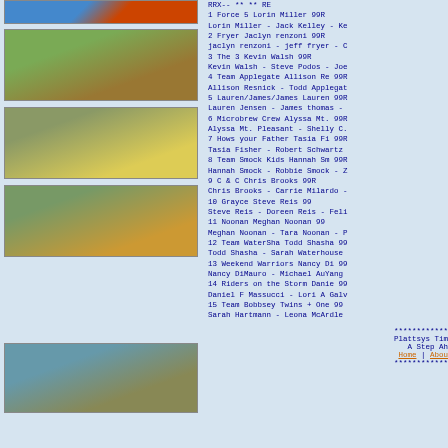[Figure (photo): Photo strip at top, colorful banner/crowd]
[Figure (photo): Runner crossing finish area, outdoor cross country race]
[Figure (photo): Runner at FINISH line banner, outdoor race]
[Figure (photo): Runner at FINISH line banner, outdoor race, cones visible]
[Figure (photo): Group of runners at start or crowd area]
RRX-- ** ** RE
1   Force 5 Lorin Miller      99R
    Lorin Miller - Jack Kelley - Ke
2   Fryer Jaclyn renzoni     99R
    jaclyn renzoni - jeff fryer - C
3   The 3 Kevin Walsh        99R
    Kevin Walsh - Steve Podos - Joe
4   Team Applegate Allison Re  99R
    Allison Resnick - Todd Applegat
5   Lauren/James/James Lauren  99R
    Lauren Jensen - James thomas -
6   Microbrew Crew Alyssa Mt.  99R
    Alyssa Mt. Pleasant - Shelly C.
7   Hows your Father Tasia Fi  99R
    Tasia Fisher - Robert Schwartz
8   Team Smock Kids Hannah Sm  99R
    Hannah Smock - Robbie Smock - Z
9   C & C Chris Brooks        99R
    Chris Brooks - Carrie Milardo -
10   Grayce Steve Reis          99
    Steve Reis - Doreen Reis - Feli
11   Noonan Meghan Noonan       99
    Meghan Noonan - Tara Noonan - P
12   Team WaterSha Todd Shasha  99
    Todd Shasha - Sarah Waterhouse
13   Weekend Warriors Nancy Di  99
    Nancy DiMauro - Michael AuYang
14   Riders on the Storm Danie  99
    Daniel F Massucci - Lori A Galv
15   Team Bobbsey Twins + One   99
    Sarah Hartmann - Leona McArdle
************
Plattsys Tim
A Step Ah
Home | Abou
************